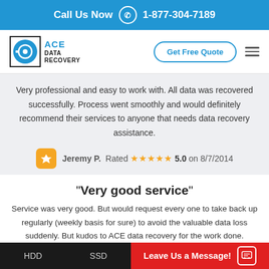Call Us Now 1-877-304-7189
[Figure (logo): Ace Data Recovery logo with hard drive icon and company name]
Get Free Quote
Very professional and easy to work with. All data was recovered successfully. Process went smoothly and would definitely recommend their services to anyone that needs data recovery assistance.
Jeremy P.  Rated ★★★★★ 5.0 on 8/7/2014
"Very good service"
Service was very good. But would request every one to take back up regularly (weekly basis for sure) to avoid the valuable data loss suddenly. But kudos to ACE data recovery for the work done.
HDD   SSD   Leave Us a Message!